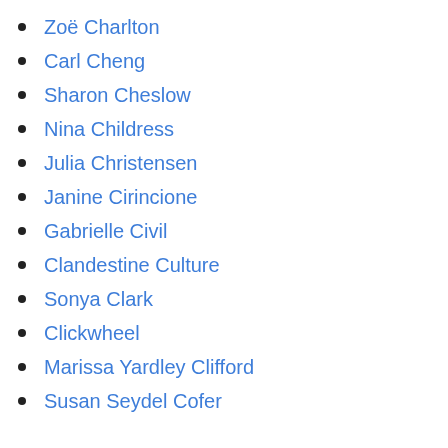Zoë Charlton
Carl Cheng
Sharon Cheslow
Nina Childress
Julia Christensen
Janine Cirincione
Gabrielle Civil
Clandestine Culture
Sonya Clark
Clickwheel
Marissa Yardley Clifford
Susan Seydel Cofer